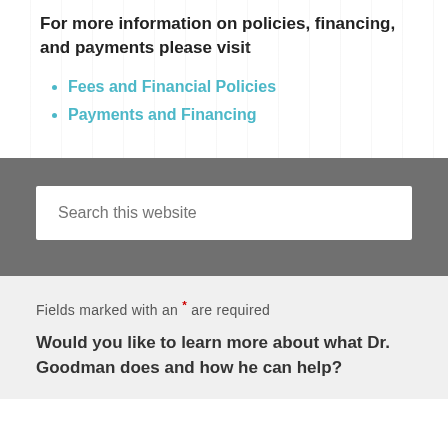For more information on policies, financing, and payments please visit
Fees and Financial Policies
Payments and Financing
Search this website
Fields marked with an * are required
Would you like to learn more about what Dr. Goodman does and how he can help?